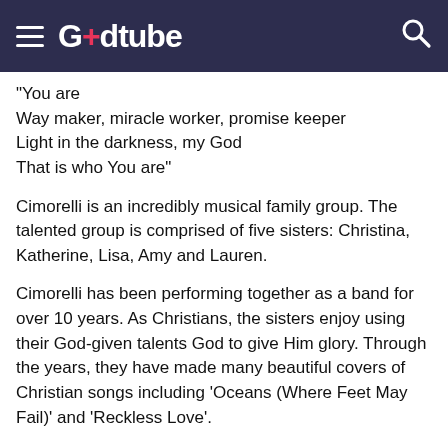Godtube
"You are
Way maker, miracle worker, promise keeper
Light in the darkness, my God
That is who You are"
Cimorelli is an incredibly musical family group. The talented group is comprised of five sisters: Christina, Katherine, Lisa, Amy and Lauren.
Cimorelli has been performing together as a band for over 10 years. As Christians, the sisters enjoy using their God-given talents God to give Him glory. Through the years, they have made many beautiful covers of Christian songs including ‘Oceans (Where Feet May Fail)’ and ‘Reckless Love’.
Today, they are praising the Lord in the most amazing way with this acoustic performance of the hit song, ‘Way Maker.’
“You are here, touching every heart